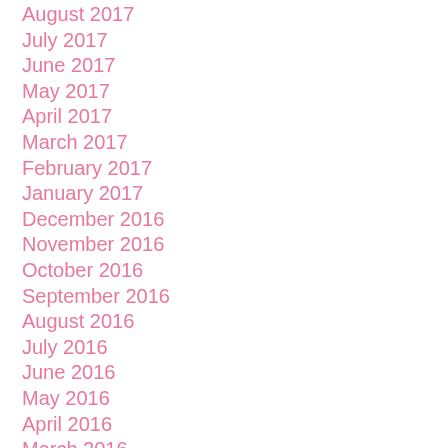August 2017
July 2017
June 2017
May 2017
April 2017
March 2017
February 2017
January 2017
December 2016
November 2016
October 2016
September 2016
August 2016
July 2016
June 2016
May 2016
April 2016
March 2016
February 2016
January 2016
December 2015
November 2015